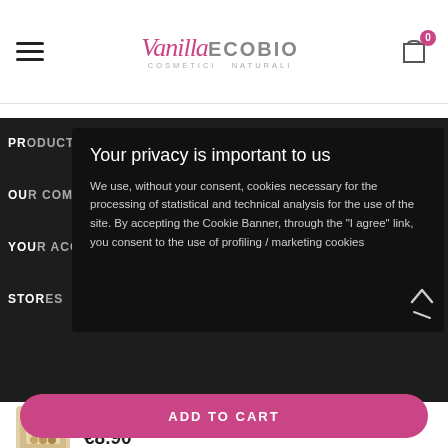Vanilla ECOBIO COSMETICI NATURALI — navigation header with hamburger menu and cart icon (0 items)
PRODUCTS
OUR COMPANY
YOUR ACCOUNT
STORES
Your privacy is important to us
We use, without your consent, cookies necessary for the processing of statistical and technical analysis for the use of the site. By accepting the Cookie Banner, through the "I agree" link, you consent to the use of profiling / marketing cookies
Indissoluble face powder n...
€8.90
ADD TO CART